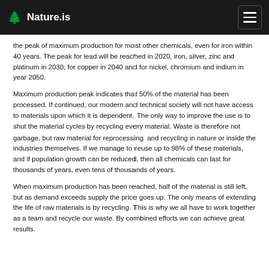Nature.is
the peak of maximum production for most other chemicals, even for iron within 40 years. The peak for lead will be reached in 2020, iron, silver, zinc and platinum in 2030, for copper in 2040 and for nickel, chromium and indium in year 2050.
Maximum production peak indicates that 50% of the material has been processed. If continued, our modern and technical society will not have access to materials upon which it is dependent. The only way to improve the use is to shut the material cycles by recycling every material. Waste is therefore not garbage, but raw material for reprocessing and recycling in nature or inside the industries themselves. If we manage to reuse up to 98% of these materials, and if population growth can be reduced, then all chemicals can last for thousands of years, even tens of thousands of years.
When maximum production has been reached, half of the material is still left, but as demand exceeds supply the price goes up. The only means of extending the life of raw materials is by recycling. This is why we all have to work together as a team and recycle our waste. By combined efforts we can achieve great results.